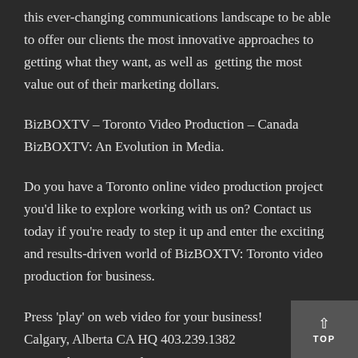this ever-changing communications landscape to be able to offer our clients the most innovative approaches to getting what they want, as well as getting the most value out of their marketing dollars.
BizBOXTV – Toronto Video Production – Canada
BizBOXTV: An Evolution in Media.
Do you have a Toronto online video production project you'd like to explore working with us on? Contact us today if you're ready to step it up and enter the exciting and results-driven world of BizBOXTV: Toronto video production for business.
Press 'play' on web video for your business!
Calgary, Alberta CA HQ 403.239.1382
National/International 1.877.839.1382
bizbox@bizboxtv.com